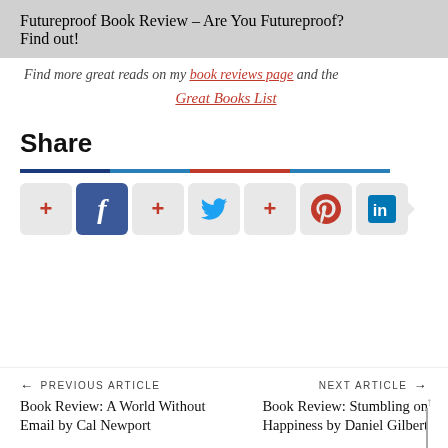Futureproof Book Review – Are You Futureproof? Find out!
Find more great reads on my book reviews page and the Great Books List
Share
[Figure (infographic): Social share bar with colored segments (dark blue, light blue, red, light blue) and social media share buttons: plus, Facebook, plus, Twitter, plus, Pinterest, LinkedIn]
← PREVIOUS ARTICLE
Book Review: A World Without Email by Cal Newport
NEXT ARTICLE →
Book Review: Stumbling on Happiness by Daniel Gilbert